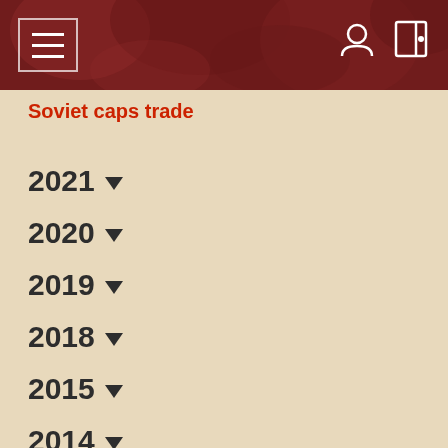Soviet caps trade
Soviet caps trade
2021
2020
2019
2018
2015
2014
2013
2012